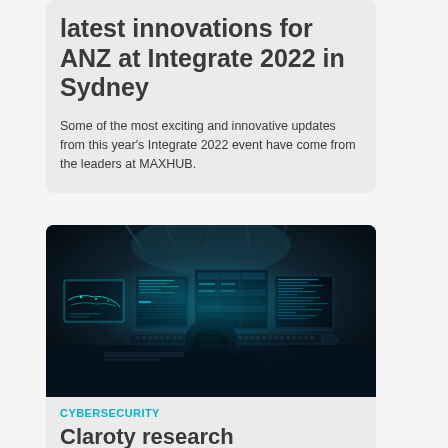latest innovations for ANZ at Integrate 2022 in Sydney
Some of the most exciting and innovative updates from this year's Integrate 2022 event have come from the leaders at MAXHUB.
[Figure (photo): A person in a hoodie seen from behind, sitting in front of multiple computer screens displaying data and maps in a dark, blue-toned room suggesting a hacking or cybersecurity environment.]
CYBERSECURITY
Claroty research